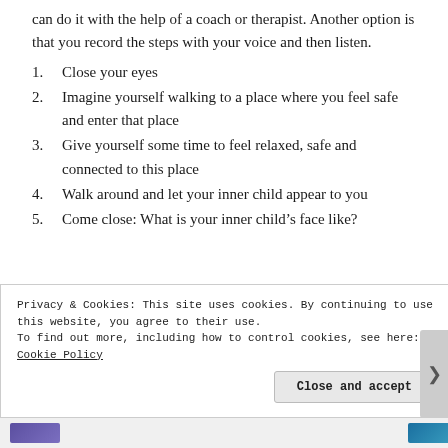can do it with the help of a coach or therapist. Another option is that you record the steps with your voice and then listen.
1. Close your eyes
2. Imagine yourself walking to a place where you feel safe and enter that place
3. Give yourself some time to feel relaxed, safe and connected to this place
4. Walk around and let your inner child appear to you
5. Come close: What is your inner child’s face like?
Privacy & Cookies: This site uses cookies. By continuing to use this website, you agree to their use. To find out more, including how to control cookies, see here: Cookie Policy